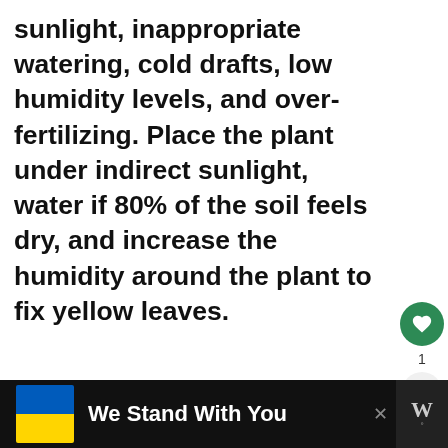sunlight, inappropriate watering, cold drafts, low humidity levels, and over-fertilizing. Place the plant under indirect sunlight, water if 80% of the soil feels dry, and increase the humidity around the plant to fix yellow leaves.
ADVERTISEMENT
[Figure (other): Blue advertisement banner rectangle]
[Figure (other): What's Next widget showing a palm tree pot image with text: WHAT'S NEXT → What Kind Of Pot Is Best F...]
[Figure (other): Bottom black bar with Ukrainian flag (blue and yellow), text 'We Stand With You', close X button, and W logo]